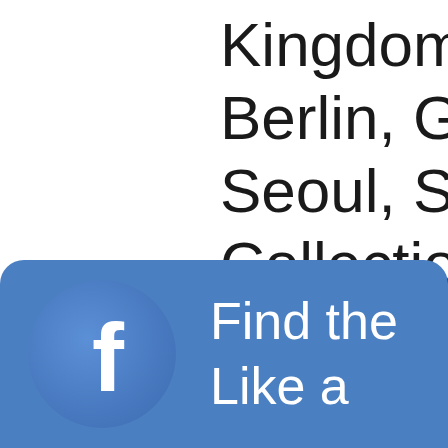Kingdom; Olbricht G Berlin, Germany; Sp Seoul, South Korea Collection, Tokyo, Ja
[Figure (logo): Facebook logo button with 'f' icon on blue circle background and text 'Find the ... Like a' on blue rounded banner]